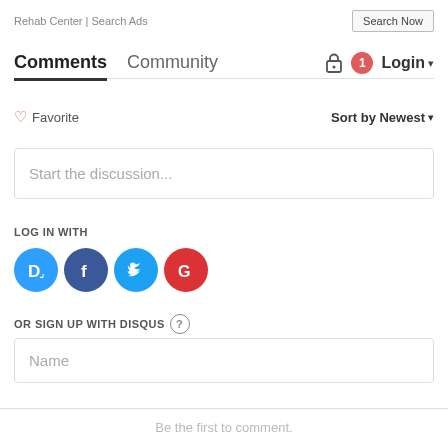Rehab Center | Search Ads
Search Now
Comments  Community  Login
♡ Favorite    Sort by Newest
Start the discussion...
LOG IN WITH
[Figure (logo): Social login icons: Disqus (D), Facebook (f), Twitter bird, Google (G)]
OR SIGN UP WITH DISQUS ?
Name
Be the first to comment.